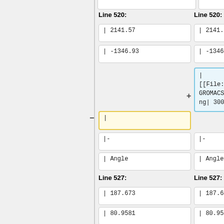Line 520: (left column)
| 2141.57
| -1346.93
Line 520: (right column)
| 2141.57
| -1346.93
| [[File:PAH_P281L_GROMACS_Bond.png| 300px]]
|
|-
| Angle
|-
| Angle
Line 527: (left column)
| 187.673
| 80.9581
Line 527: (right column)
| 187.673
| 80.9581
| [[File:PAH_P281L_GROMACS_Angle.p ng| 300px]]